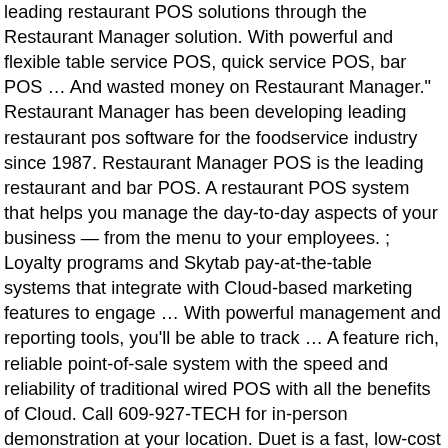leading restaurant POS solutions through the Restaurant Manager solution. With powerful and flexible table service POS, quick service POS, bar POS … And wasted money on Restaurant Manager." Restaurant Manager has been developing leading restaurant pos software for the foodservice industry since 1987. Restaurant Manager POS is the leading restaurant and bar POS. A restaurant POS system that helps you manage the day-to-day aspects of your business — from the menu to your employees. ; Loyalty programs and Skytab pay-at-the-table systems that integrate with Cloud-based marketing features to engage … With powerful management and reporting tools, you'll be able to track … A feature rich, reliable point-of-sale system with the speed and reliability of traditional wired POS with all the benefits of Cloud. Call 609-927-TECH for in-person demonstration at your location. Duet is a fast, low-cost mobile POS solution that provides maximum results. Restaurant Manager gives you the tools to efficiently service customers while at the same time send accurate information to the food prep staff. About Restaurant Manager POS. Easy software interface: Intuitive, dynamic graphics mean low training time. With hardware options from a traditional touchscreen terminal to a tablet like the iPad and software options like customer loyalty, fully integrated online ordering, hostess and